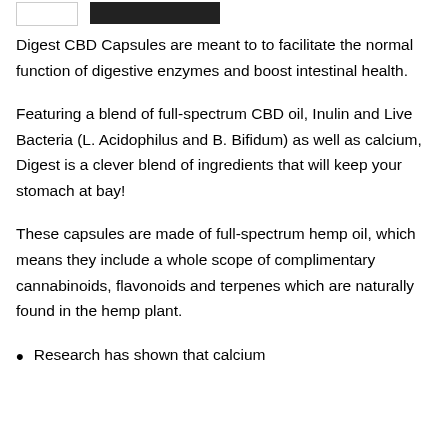[Figure (other): Small white rectangle placeholder image and a dark button/banner element in the header area]
Digest CBD Capsules are meant to to facilitate the normal function of digestive enzymes and boost intestinal health.
Featuring a blend of full-spectrum CBD oil, Inulin and Live Bacteria (L. Acidophilus and B. Bifidum) as well as calcium, Digest is a clever blend of ingredients that will keep your stomach at bay!
These capsules are made of full-spectrum hemp oil, which means they include a whole scope of complimentary cannabinoids, flavonoids and terpenes which are naturally found in the hemp plant.
Research has shown that calcium